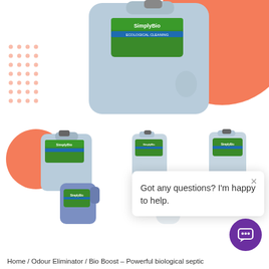[Figure (photo): Large light blue plastic Jerry can with SimplyBio label on an orange circle background with dot pattern decorations]
[Figure (photo): Thumbnail gallery of 6 SimplyBio product containers in various sizes: large blue jerrycan, medium blue jerrycan, medium blue container, blue container, blue jug, white bottle]
[Figure (screenshot): Chat popup overlay saying 'Got any questions? I'm happy to help.' with close X button and purple chat button]
Home / Odour Eliminator / Bio Boost – Powerful biological septic